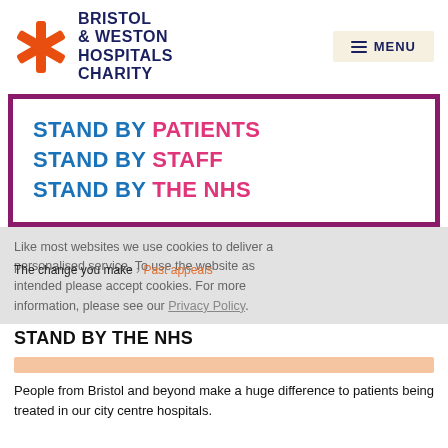[Figure (logo): Bristol & Weston Hospitals Charity logo with orange asterisk/star mark and dark navy bold text]
STAND BY PATIENTS
STAND BY STAFF
STAND BY THE NHS
Like most websites we use cookies to deliver a personalised service. To use the website as intended please accept cookies. For more information, please see our Privacy Policy.
The change you make > Past appeals
STAND BY THE NHS
People from Bristol and beyond make a huge difference to patients being treated in our city centre hospitals.